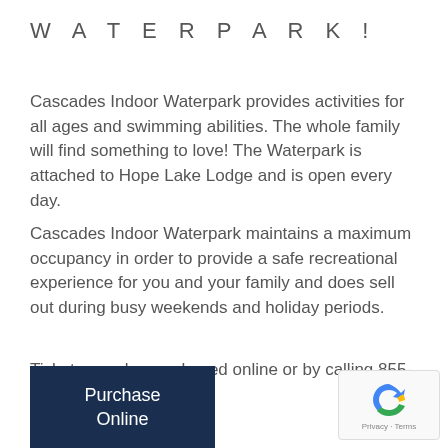WATERPARK!
Cascades Indoor Waterpark provides activities for all ages and swimming abilities. The whole family will find something to love! The Waterpark is attached to Hope Lake Lodge and is open every day.
Cascades Indoor Waterpark maintains a maximum occupancy in order to provide a safe recreational experience for you and your family and does sell out during busy weekends and holiday periods.
Tickets may be purchased online or by calling 855-950-7233
Purchase Online